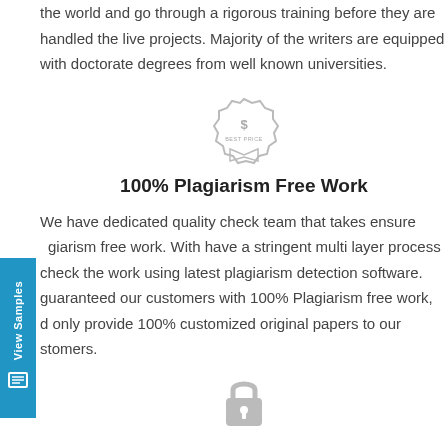These writers are hired from top universities across Jordan and the world and go through a rigorous training before they are handled the live projects. Majority of the writers are equipped with doctorate degrees from well known universities.
[Figure (illustration): A badge/seal icon with a dollar sign and text 'BEST PRICE' in the center, rendered in light gray outline style.]
100% Plagiarism Free Work
We have dedicated quality check team that takes ensure plagiarism free work. With have a stringent multi layer process check the work using latest plagiarism detection software. guaranteed our customers with 100% Plagiarism free work, d only provide 100% customized original papers to our stomers.
[Figure (illustration): A padlock icon rendered in light gray, representing security or locked content.]